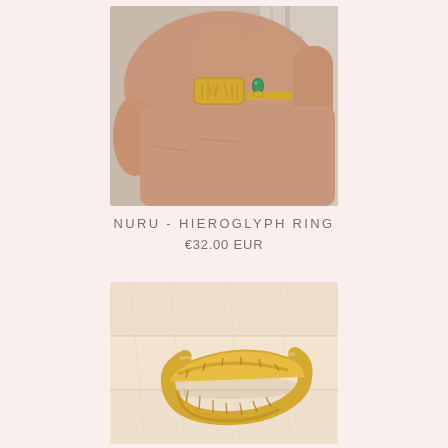[Figure (photo): Close-up photo of a hand wearing two gold rings: a wide engraved hieroglyph signet ring and a thin ring with a green teardrop gemstone, photographed against a distressed white wooden background.]
NURU - HIEROGLYPH RING
€32.00 EUR
[Figure (photo): Product photo of a gold open-band adjustable ring with engraved hieroglyph pattern, shown on a light pink and white wooden surface background.]